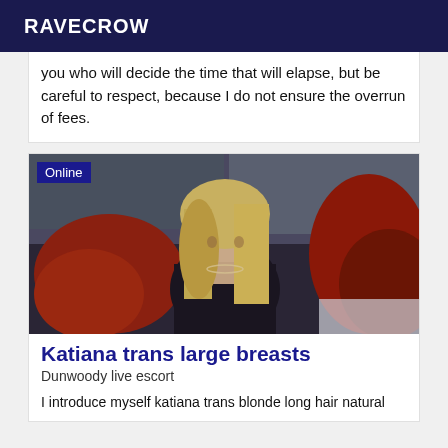RAVECROW
you who will decide the time that will elapse, but be careful to respect, because I do not ensure the overrun of fees.
[Figure (photo): Photo of a blonde woman in a dark top and red jacket, posed indoors. An 'Online' badge is shown in the top left corner.]
Katiana trans large breasts
Dunwoody live escort
I introduce myself katiana trans blonde long hair natural